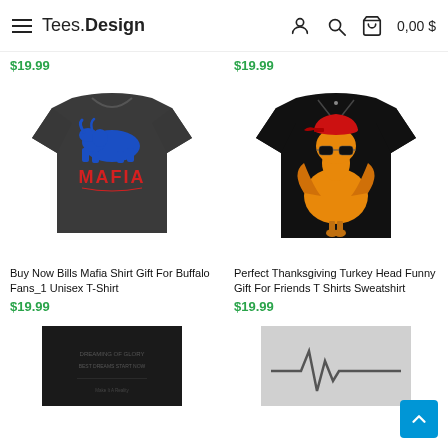Tees.Design — 0,00$
$19.99
$19.99
[Figure (photo): Dark grey t-shirt with blue buffalo silhouette and red MAFIA text]
[Figure (photo): Black t-shirt with orange turkey wearing sunglasses and hat]
Buy Now Bills Mafia Shirt Gift For Buffalo Fans_1 Unisex T-Shirt
$19.99
Perfect Thanksgiving Turkey Head Funny Gift For Friends T Shirts Sweatshirt
$19.99
[Figure (photo): Black t-shirt with text graphic partially visible at bottom]
[Figure (photo): Light grey t-shirt with heartbeat/EKG graphic partially visible at bottom]